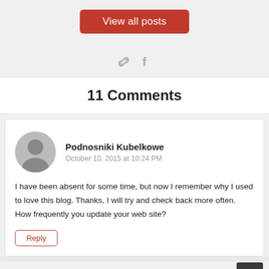[Figure (other): View all posts button (red/dark-red rounded rectangle button)]
[Figure (other): Social icons: chain link and Facebook 'f' icon in gray]
11 Comments
Podnosniki Kubelkowe
October 10, 2015 at 10:24 PM
I have been absent for some time, but now I remember why I used to love this blog. Thanks, I will try and check back more often. How frequently you update your web site?
Reply